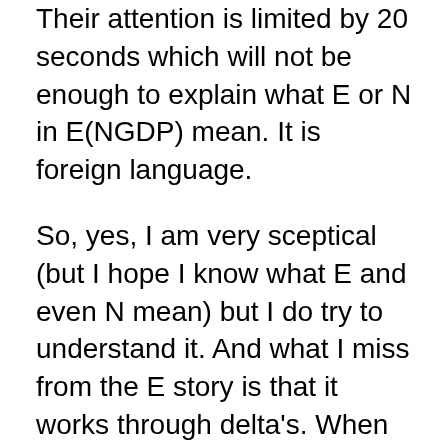Their attention is limited by 20 seconds which will not be enough to explain what E or N in E(NGDP) mean. It is foreign language.
So, yes, I am very sceptical (but I hope I know what E and even N mean) but I do try to understand it. And what I miss from the E story is that it works through delta's. When Chuck Norris enters the room and threatens to beat everybody up, the delta is easily observable. That is the flow is people leaving the room. As people leave the room and everybody can clearly observe the delta and